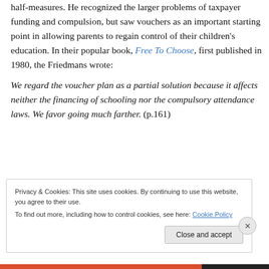half-measures. He recognized the larger problems of taxpayer funding and compulsion, but saw vouchers as an important starting point in allowing parents to regain control of their children's education. In their popular book, Free To Choose, first published in 1980, the Friedmans wrote:
We regard the voucher plan as a partial solution because it affects neither the financing of schooling nor the compulsory attendance laws. We favor going much farther. (p.161)
Privacy & Cookies: This site uses cookies. By continuing to use this website, you agree to their use.
To find out more, including how to control cookies, see here: Cookie Policy
Close and accept